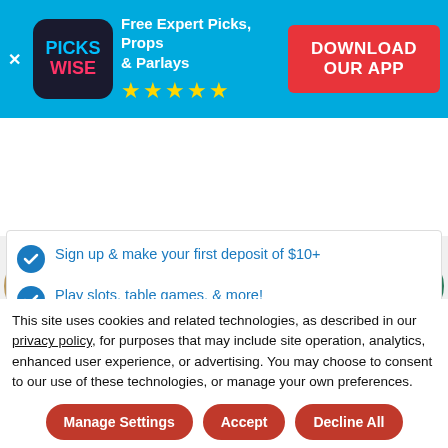[Figure (screenshot): Pickswise app advertisement banner with logo, tagline 'Free Expert Picks, Props & Parlays', 5 gold stars, and red 'DOWNLOAD OUR APP' button on blue background]
[Figure (screenshot): Row of sportsbook/betting app circular icons with red notification badges]
Sign up & make your first deposit of $10+
Play slots, table games, & more!
After your first day of play, get four weekly $25 site credit drops. Plus, if you're down, you'll get back 100%
This site uses cookies and related technologies, as described in our privacy policy, for purposes that may include site operation, analytics, enhanced user experience, or advertising. You may choose to consent to our use of these technologies, or manage your own preferences.